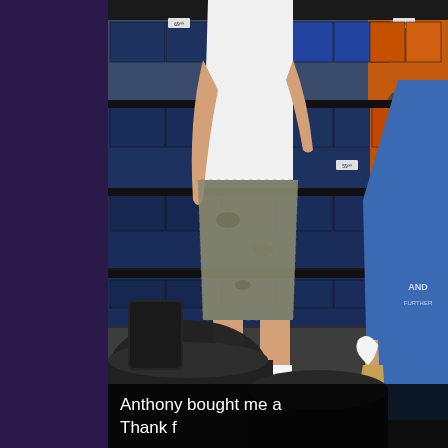[Figure (photo): Interior of a shoe store. In the background, shelves stacked with navy blue and orange shoe boxes. A man wearing a white t-shirt, camouflage cargo shorts, white socks, and athletic shoes stands facing away from the camera in the aisle. To the right, a teenager in a blue graphic t-shirt and grey shorts holds a white sock and a paper bag. In the foreground, dark-colored chairs are visible.]
Anthony bought me a
Thank f